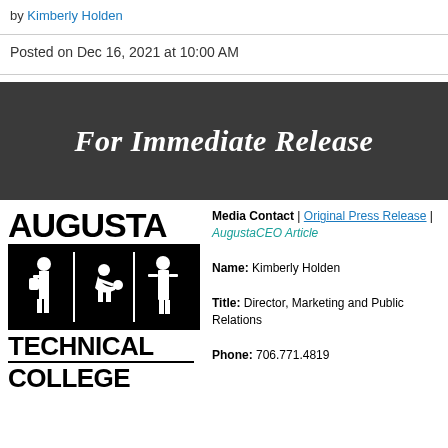by Kimberly Holden
Posted on Dec 16, 2021 at 10:00 AM
[Figure (other): Dark gray banner with bold italic white text reading 'For Immediate Release']
[Figure (logo): Augusta Technical College logo with silhouette figures]
Media Contact | Original Press Release | AugustaCEO Article
Name: Kimberly Holden
Title: Director, Marketing and Public Relations
Phone: 706.771.4819